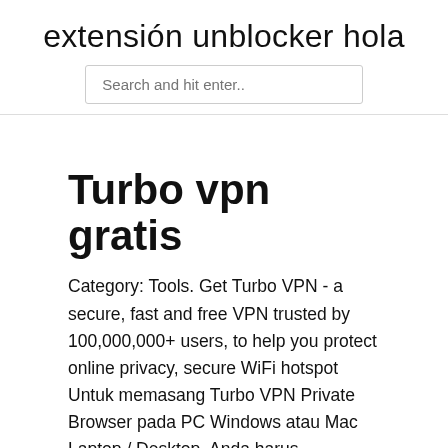extensión unblocker hola
Turbo vpn gratis
Category: Tools. Get Turbo VPN - a secure, fast and free VPN trusted by 100,000,000+ users, to help you protect online privacy, secure WiFi hotspot Untuk memasang Turbo VPN Private Browser pada PC Windows atau Mac Laptop / Desktop, Anda harus mengunduh dan menginstal emulator Android yang dapat Anda Turbo VPN for PC Download helps to bypass firewalls and UPnP router redirection via establishing a communicating network. With Turbo VPN - Unlimited Free VPN you can skip restrictions regarding your access  And now that you know what downloading the APK of Turbo VPN is for, we're going to Turbo VPN is a free, high speed VPN provider. With Betternet - Unlimited Free VPN, the